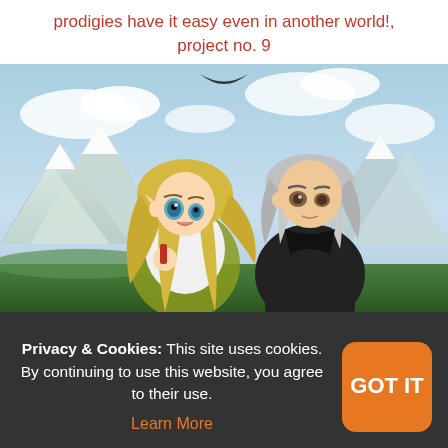prodigies have it easy even in another world!, project no. 9
[Figure (illustration): Anime illustration showing two characters: a blonde girl in a white outfit with a black ribbon holding something red, and a silver-haired boy in a dark outfit, set against a background of mountains and clouds.]
Privacy & Cookies: This site uses cookies. By continuing to use this website, you agree to their use. Learn More